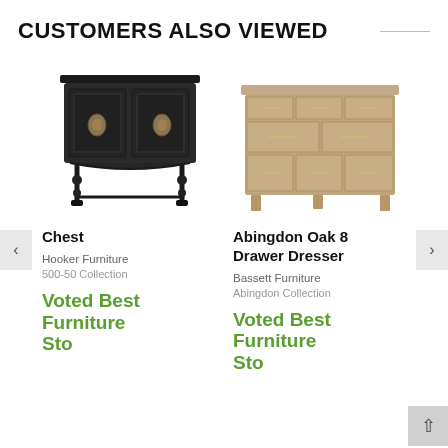CUSTOMERS ALSO VIEWED
[Figure (photo): Black ornate wooden chest with two doors, decorative brass ring pulls, and turned spindle legs with stretcher base]
Chest
Hooker Furniture
500-50 Collection
Voted Best Furniture Store...
[Figure (photo): Light oak 8-drawer dresser with simple bar pulls, modern style, two columns of drawers]
Abingdon Oak 8 Drawer Dresser
Bassett Furniture
Abingdon Collection
Voted Best Furniture Store...